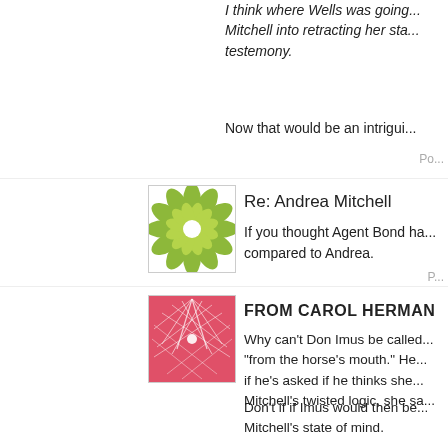I think where Wells was going...Mitchell into retracting her statement/testemony.
Now that would be an intrigui...
Po...
[Figure (illustration): Green flower/mandala pattern avatar icon]
Re: Andrea Mitchell
If you thought Agent Bond ha... compared to Andrea.
P...
[Figure (illustration): Red/pink radiating lines pattern avatar icon]
FROM CAROL HERMAN
Why can't Don Imus be called... "from the horse's mouth." He... if he's asked if he thinks she... Mitchell's twisted logic, she sa...
Don't if if Imus would then be... Mitchell's state of mind.